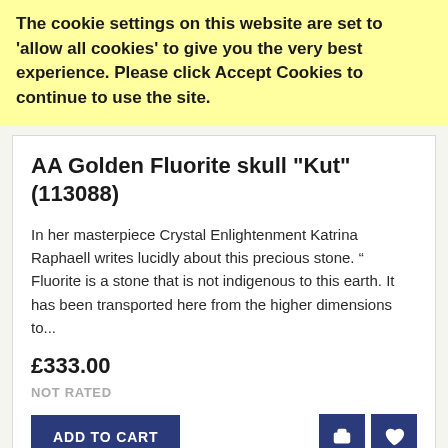The cookie settings on this website are set to 'allow all cookies' to give you the very best experience. Please click Accept Cookies to continue to use the site.
AA Golden Fluorite skull "Kut" (113088)
In her masterpiece Crystal Enlightenment Katrina Raphaell writes lucidly about this precious stone. “ Fluorite is a stone that is not indigenous to this earth. It has been transported here from the higher dimensions to...
£333.00
NOT RATED
[Figure (photo): Photo of a crystal mineral wrapped in fabric, beige/tan tones, viewed from above on a dark background]